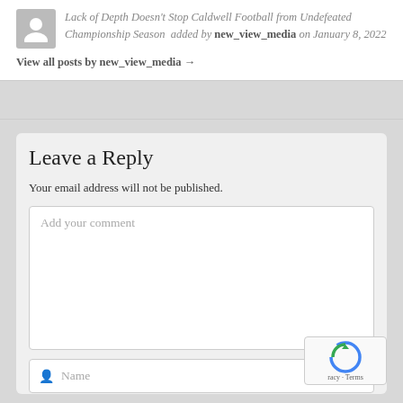Lack of Depth Doesn't Stop Caldwell Football from Undefeated Championship Season  added by new_view_media on January 8, 2022
View all posts by new_view_media →
Leave a Reply
Your email address will not be published.
Add your comment
Name